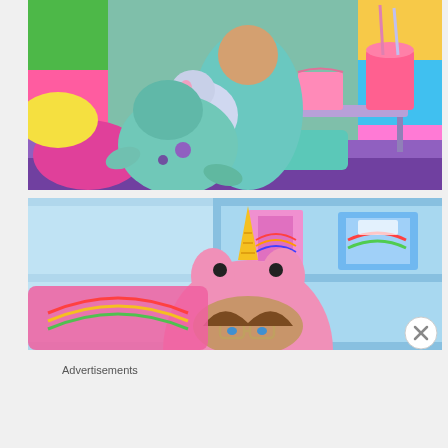[Figure (photo): Colorful room scene with a person in a teal onesie sitting on a purple bed/floor surrounded by colorful pillows (pink, green, yellow), holding a unicorn stuffed plush toy (teal/grey). A lavender low table holds a pink popcorn box, a pink drink with a straw, and other items. Background has rainbow colored panels.]
[Figure (photo): Person wearing a pink unicorn hoodie/onesie with a yellow horn, peeking over glasses with blue eyes, in front of a light blue shelving unit containing colorful toy/book items including MLP (My Little Pony) merchandise.]
Advertisements
[Figure (infographic): Red advertisement banner for Pocket Casts app: 'An app by listeners, for listeners.' with Pocket Casts logo and a phone mockup showing the app with text 'Dis-tri-buted']